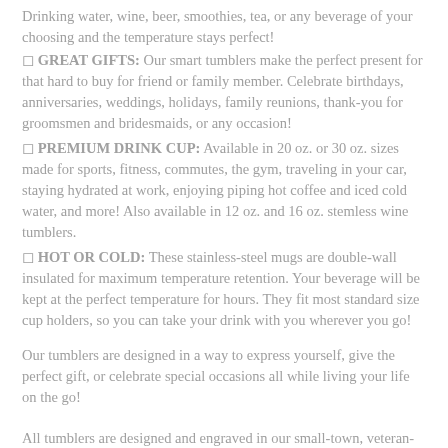✓ GREAT GIFTS: Our smart tumblers make the perfect present for that hard to buy for friend or family member. Celebrate birthdays, anniversaries, weddings, holidays, family reunions, thank-you for groomsmen and bridesmaids, or any occasion!
✓ PREMIUM DRINK CUP: Available in 20 oz. or 30 oz. sizes made for sports, fitness, commutes, the gym, traveling in your car, staying hydrated at work, enjoying piping hot coffee and iced cold water, and more! Also available in 12 oz. and 16 oz. stemless wine tumblers.
✓ HOT OR COLD: These stainless-steel mugs are double-wall insulated for maximum temperature retention. Your beverage will be kept at the perfect temperature for hours. They fit most standard size cup holders, so you can take your drink with you wherever you go!
Our tumblers are designed in a way to express yourself, give the perfect gift, or celebrate special occasions all while living your life on the go!
All tumblers are designed and engraved in our small-town, veteran-owned shop in Ohio.